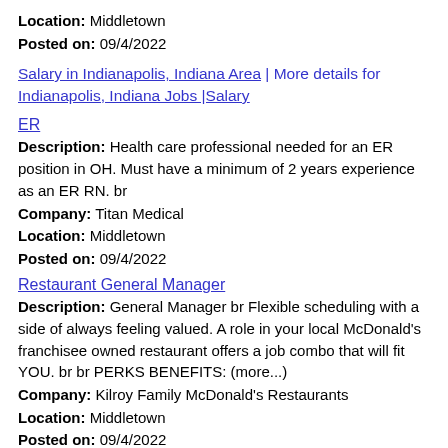Location: Middletown
Posted on: 09/4/2022
Salary in Indianapolis, Indiana Area | More details for Indianapolis, Indiana Jobs |Salary
ER
Description: Health care professional needed for an ER position in OH. Must have a minimum of 2 years experience as an ER RN. br
Company: Titan Medical
Location: Middletown
Posted on: 09/4/2022
Restaurant General Manager
Description: General Manager br Flexible scheduling with a side of always feeling valued. A role in your local McDonald's franchisee owned restaurant offers a job combo that will fit YOU. br br PERKS BENEFITS: (more...)
Company: Kilroy Family McDonald's Restaurants
Location: Middletown
Posted on: 09/4/2022
Nursing
Description: ABOUT By the very nature of their duties, Navy Nurses